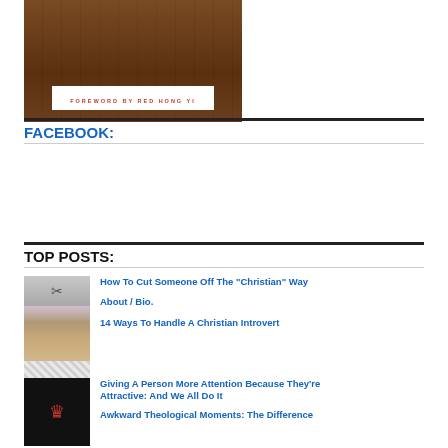[Figure (photo): Photo of a book cover on a wooden surface with white label reading 'FOREWORD BY RED HONG YI']
FACEBOOK:
TOP POSTS:
How To Cut Someone Off The "Christian" Way
About / Bio.
14 Ways To Handle A Christian Introvert
Giving A Person More Attention Because They're Attractive: And We All Do It
Awkward Theological Moments: The Difference